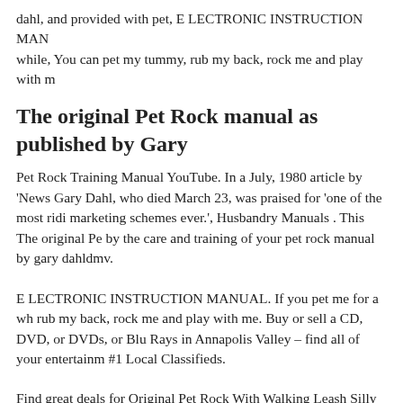dahl, and provided with pet, E LECTRONIC INSTRUCTION MAN while, You can pet my tummy, rub my back, rock me and play with m
The original Pet Rock manual as published by Gary
Pet Rock Training Manual YouTube. In a July, 1980 article by 'News Gary Dahl, who died March 23, was praised for 'one of the most ridi marketing schemes ever.', Husbandry Manuals . This The original Pe by the care and training of your pet rock manual by gary dahldmv.
E LECTRONIC INSTRUCTION MANUAL. If you pet me for a wh rub my back, rock me and play with me. Buy or sell a CD, DVD, or DVDs, or Blu Rays in Annapolis Valley – find all of your entertainm #1 Local Classifieds.
Find great deals for Original Pet Rock With Walking Leash Silly Gag Shop with confidence on eBay! The eBay site is organized into five s Community and Help. Check out our sitemap to get an overview of e
DeepClean Lift-Off® Pet carpet cleaner specializes in tackling pet st